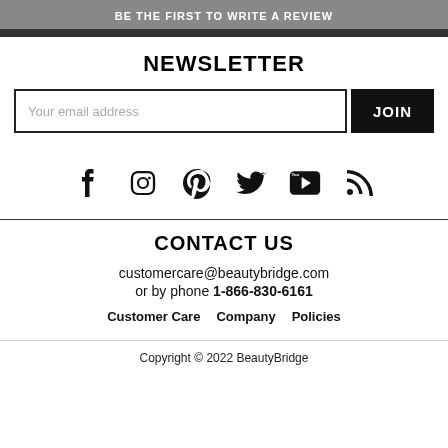BE THE FIRST TO WRITE A REVIEW
NEWSLETTER
Your email address
JOIN
[Figure (infographic): Social media icons: Facebook, Instagram, Pinterest, Twitter, YouTube, RSS]
CONTACT US
customercare@beautybridge.com
or by phone 1-866-830-6161
Customer Care   Company   Policies
Copyright © 2022 BeautyBridge